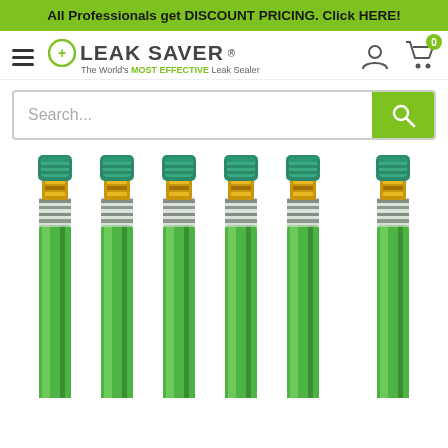All Professionals get DISCOUNT PRICING. Click HERE!
[Figure (screenshot): Leak Saver website navigation bar with hamburger menu, Leak Saver logo (The World's MOST EFFECTIVE Leak Sealer), user account icon, and shopping cart icon with badge showing 0]
[Figure (screenshot): Search bar with placeholder text 'Search...' and a green search button with magnifying glass icon]
[Figure (photo): Six green flexible hoses/pipes with brass fittings and teal caps at the top, arranged side by side on a white background]